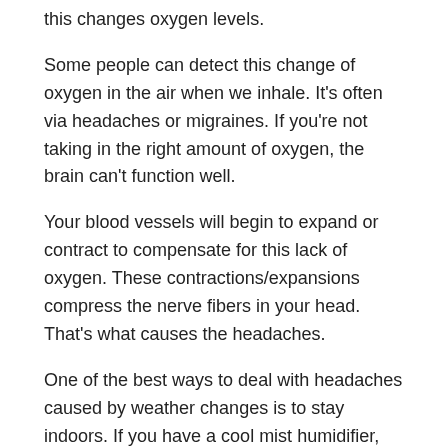this changes oxygen levels.
Some people can detect this change of oxygen in the air when we inhale. It's often via headaches or migraines. If you're not taking in the right amount of oxygen, the brain can't function well.
Your blood vessels will begin to expand or contract to compensate for this lack of oxygen. These contractions/expansions compress the nerve fibers in your head. That's what causes the headaches.
One of the best ways to deal with headaches caused by weather changes is to stay indoors. If you have a cool mist humidifier, you can control the humidity levels inside your home. Being able to regulate the humidity in the air will help you avoid headaches and migraines. Using essential oils that help relieve headaches may also work great in this scenario